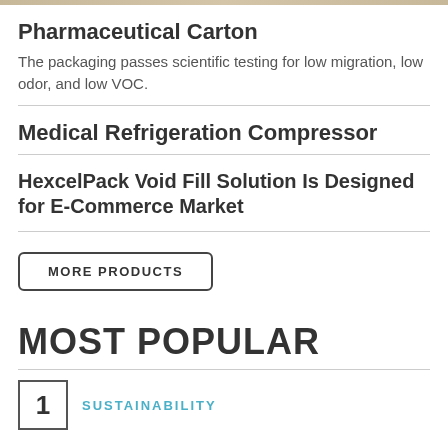Pharmaceutical Carton
The packaging passes scientific testing for low migration, low odor, and low VOC.
Medical Refrigeration Compressor
HexcelPack Void Fill Solution Is Designed for E-Commerce Market
MORE PRODUCTS
MOST POPULAR
SUSTAINABILITY